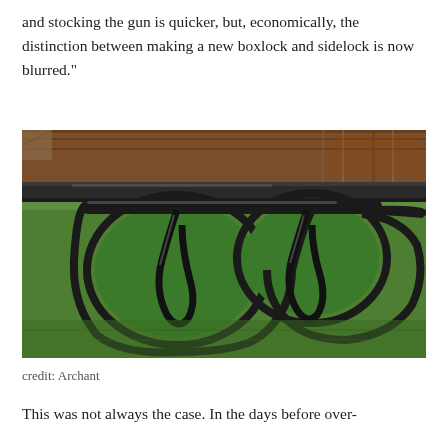and stocking the gun is quicker, but, economically, the distinction between making a new boxlock and sidelock is now blurred."
[Figure (photo): Close-up photograph of a double-trigger gun mechanism with two curved metal triggers and a trigger guard, set against a green grass background, with a wooden gun stock visible at top.]
credit: Archant
This was not always the case. In the days before over-